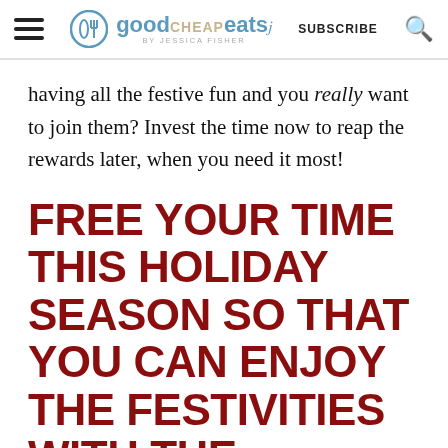good CHEAP eats BY JESSICA FISHER | SUBSCRIBE
having all the festive fun and you really want to join them? Invest the time now to reap the rewards later, when you need it most!
FREE YOUR TIME THIS HOLIDAY SEASON SO THAT YOU CAN ENJOY THE FESTIVITIES WITH THE PEOPLE WHO